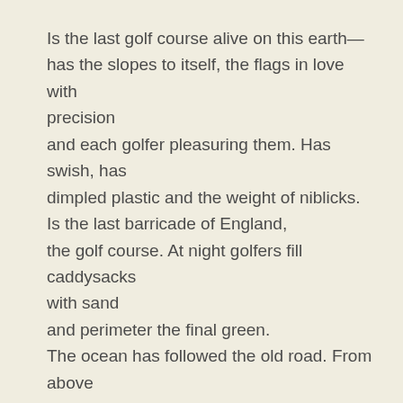Is the last golf course alive on this earth—
has the slopes to itself, the flags in love with precision
and each golfer pleasuring them. Has swish, has dimpled plastic and the weight of niblicks.
Is the last barricade of England,
the golf course. At night golfers fill caddysacks with sand
and perimeter the final green.
The ocean has followed the old road. From above come neighbours howling, snub-nosed trowels and pitchforks, faces tricked out in leaping seedlings.
All other golf courses now have rotted,
all other golf courses now are fathoms low,
all other golf courses now have blossomed. Melon